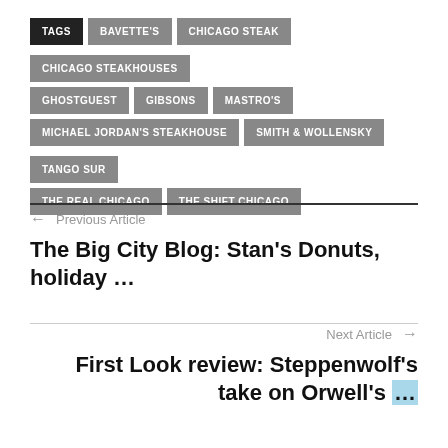TAGS | BAVETTE'S | CHICAGO STEAK | CHICAGO STEAKHOUSES | GHOSTGUEST | GIBSONS | MASTRO'S | MICHAEL JORDAN'S STEAKHOUSE | SMITH & WOLLENSKY | TANGO SUR | THE REAL CHICAGO | THE SHIFT CHICAGO
← Previous Article
The Big City Blog: Stan's Donuts, holiday …
Next Article →
First Look review: Steppenwolf's take on Orwell's …